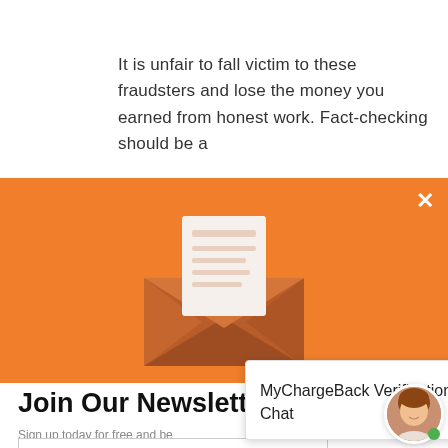It is unfair to fall victim to these fraudsters and lose the money you earned from honest work. Fact-checking should be a
[Figure (illustration): Orange banner with envelope/mail icon illustration showing an open envelope with a letter inside]
Join Our Newsletter
Sign up today for free and be
Enter your Email
SUBSCRIBE NOW
NO THANKS
MyChargeBack Verification Chat